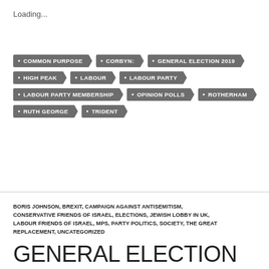Loading...
COMMON PURPOSE
CORBYN:
GENERAL ELECTION 2019
HIGH PEAK
LABOUR
LABOUR PARTY
LABOUR PARTY MEMBERSHIP
OPINION POLLS
ROTHERHAM
RUTH GEORGE
TRIDENT
BORIS JOHNSON, BREXIT, CAMPAIGN AGAINST ANTISEMITISM, CONSERVATIVE FRIENDS OF ISRAEL, ELECTIONS, JEWISH LOBBY IN UK, LABOUR FRIENDS OF ISRAEL, MPS, PARTY POLITICS, SOCIETY, THE GREAT REPLACEMENT, UNCATEGORIZED
GENERAL ELECTION 2019 DAILY UPDATED BLOG